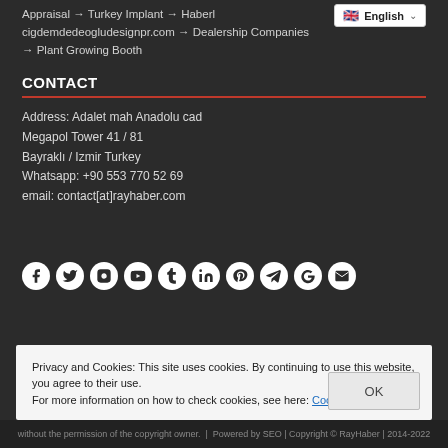Appraisal → Turkey Implant → Haberler cigdemdedeogludesignpr.com → Dealership Companies → Plant Growing Booth
CONTACT
Address: Adalet mah Anadolu cad
Megapol Tower 41 / 81
Bayraklı / Izmir Turkey
Whatsapp: +90 553 770 52 69
email: contact[at]rayhaber.com
[Figure (infographic): Social media icons: Facebook, Twitter, Instagram, YouTube, Tumblr, LinkedIn, Pinterest, Telegram, Google, Email]
Privacy and Cookies: This site uses cookies. By continuing to use this website, you agree to their use.
For more information on how to check cookies, see here: Cookie Policy
without the permission of the copyright owner.
Powered by SEO | Copyright © RayHaber | 2014-2022